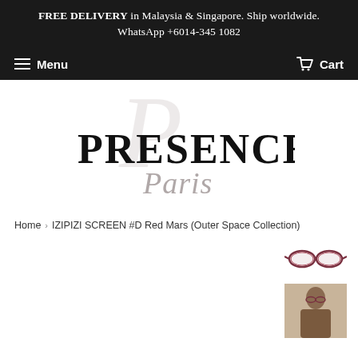FREE DELIVERY in Malaysia & Singapore. Ship worldwide. WhatsApp +6014-345 1082
Menu   Cart
[Figure (logo): Presence Paris brand logo — large serif PRESENCE text with elegant italic Paris script below and a decorative cursive swash behind]
Home > IZIPIZI SCREEN #D Red Mars (Outer Space Collection)
[Figure (photo): Small thumbnail of red-framed IZIPIZI glasses (top right)]
[Figure (photo): Partial thumbnail of a model wearing the glasses (bottom right)]